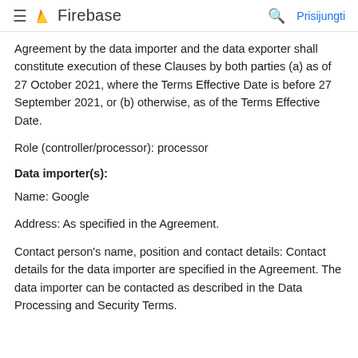Firebase  Prisijungti
Agreement by the data importer and the data exporter shall constitute execution of these Clauses by both parties (a) as of 27 October 2021, where the Terms Effective Date is before 27 September 2021, or (b) otherwise, as of the Terms Effective Date.
Role (controller/processor): processor
Data importer(s):
Name: Google
Address: As specified in the Agreement.
Contact person's name, position and contact details: Contact details for the data importer are specified in the Agreement. The data importer can be contacted as described in the Data Processing and Security Terms.